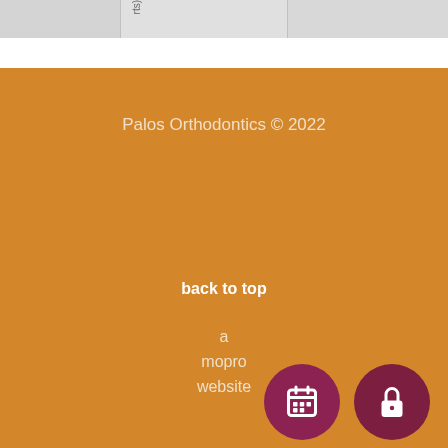[Figure (screenshot): Partial map image strip at the top of the page showing grey map tiles with a vertical text label 'rts)']
Palos Orthodontics © 2022
back to top
a mopro website
[Figure (other): Dark red circular button with calendar icon]
[Figure (other): Dark red circular button with lock/padlock icon]